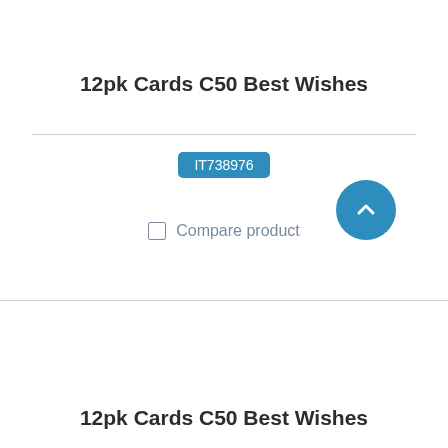12pk Cards C50 Best Wishes
IT738976
Compare product
[Figure (other): Blue circular back-to-top button with upward chevron arrow]
12pk Cards C50 Best Wishes